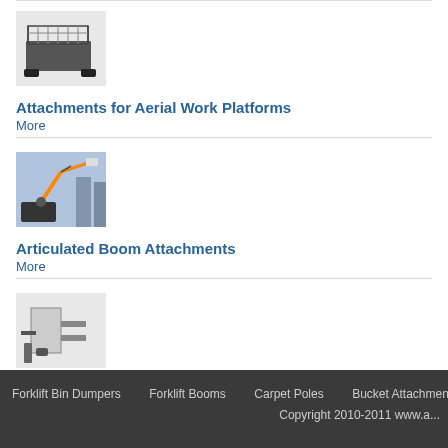[Figure (photo): Image of an aerial work platform attachment (cage/basket) on a forklift]
Attachments for Aerial Work Platforms
More
[Figure (photo): Image of an articulated boom lift in use outdoors]
Articulated Boom Attachments
More
[Figure (photo): Image of a forklift bale clamp attachment]
Forklift Bale Clamps
More
Browse All
Forklift Bin Dumpers   Forklift Booms   Carpet Poles   Bucket Attachments   Lifting   Copyright 2010-2011 www.a...